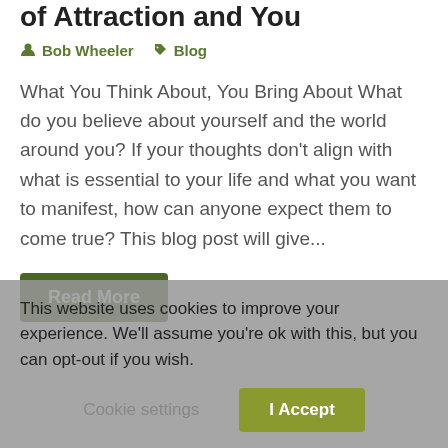of Attraction and You
Bob Wheeler  Blog
What You Think About, You Bring About What do you believe about yourself and the world around you? If your thoughts don't align with what is essential to your life and what you want to manifest, how can anyone expect them to come true? This blog post will give...
Read More
This website uses cookies to improve your experience. We'll assume you're ok with this, but you can opt-out if you wish.
Cookie settings  I Accept